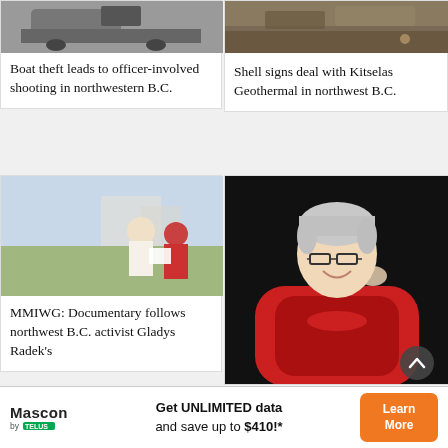[Figure (photo): Photo of a car/vehicle scene, top of card]
Boat theft leads to officer-involved shooting in northwestern B.C.
[Figure (photo): Photo of geothermal ground/nature scene]
Shell signs deal with Kitselas Geothermal in northwest B.C.
[Figure (photo): Two women outdoors looking at documents]
MMIWG: Documentary follows northwest B.C. activist Gladys Radek's
[Figure (photo): Portrait of an older woman with short grey hair, glasses, smiling, wearing a red and black Indigenous-patterned top]
Get UNLIMITED data and save up to $410!*